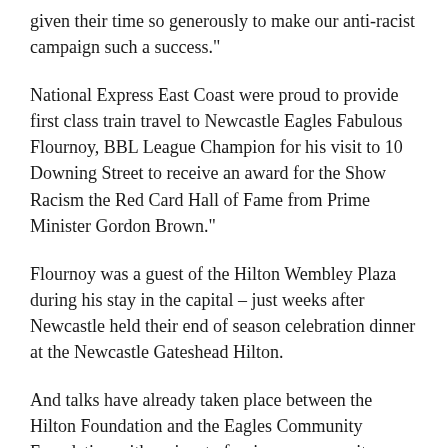given their time so generously to make our anti-racist campaign such a success."
National Express East Coast were proud to provide first class train travel to Newcastle Eagles Fabulous Flournoy, BBL League Champion for his visit to 10 Downing Street to receive an award for the Show Racism the Red Card Hall of Fame from Prime Minister Gordon Brown."
Flournoy was a guest of the Hilton Wembley Plaza during his stay in the capital – just weeks after Newcastle held their end of season celebration dinner at the Newcastle Gateshead Hilton.
And talks have already taken place between the Hilton Foundation and the Eagles Community Foundation with a view to forging a community partnership in the future.